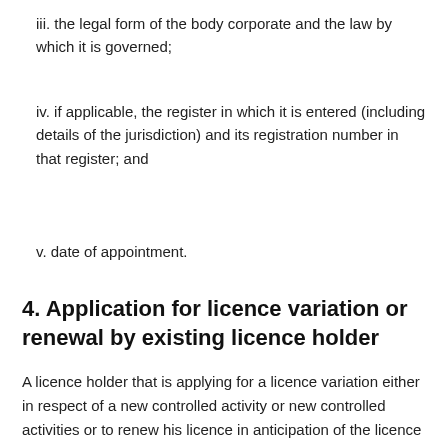iii. the legal form of the body corporate and the law by which it is governed;
iv. if applicable, the register in which it is entered (including details of the jurisdiction) and its registration number in that register; and
v. date of appointment.
4. Application for licence variation or renewal by existing licence holder
A licence holder that is applying for a licence variation either in respect of a new controlled activity or new controlled activities or to renew his licence in anticipation of the licence holder’s existing licence expiring shall be subject to these Rules as a new applicant but shall not be obliged to provide the documents required by paragraph (2)(b) to (e) of Rule 3 if an officer of the licence holder provides to the Registrar, written confirmation that the documents